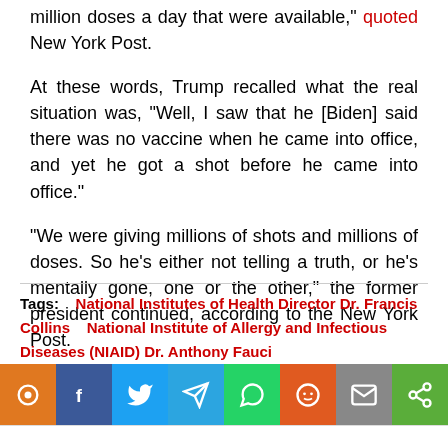million doses a day that were available," quoted New York Post.
At these words, Trump recalled what the real situation was, "Well, I saw that he [Biden] said there was no vaccine when he came into office, and yet he got a shot before he came into office."
"We were giving millions of shots and millions of doses. So he's either not telling a truth, or he's mentally gone, one or the other," the former president continued, according to the New York Post.
Tags: National Institutes of Health Director Dr. Francis Collins   National Institute of Allergy and Infectious Diseases (NIAID) Dr. Anthony Fauci
[Figure (infographic): Social sharing bar with icons: pin (orange), Facebook (blue), Twitter (light blue), Telegram (blue), WhatsApp (green), Reddit (orange-red), email (gray), share (green)]